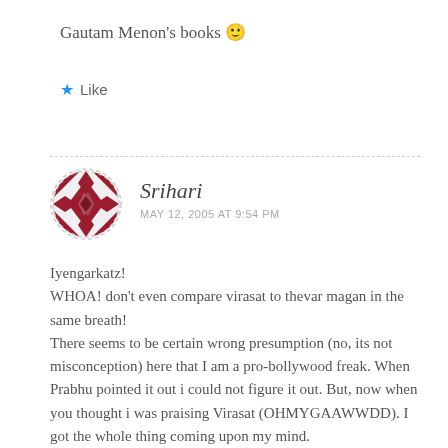Gautam Menon's books 🙂
★ Like
Srihari
MAY 12, 2005 AT 9:54 PM
Iyengarkatz!
WHOA! don't even compare virasat to thevar magan in the same breath!
There seems to be certain wrong presumption (no, its not misconception) here that I am a pro-bollywood freak. When Prabhu pointed it out i could not figure it out. But, now when you thought i was praising Virasat (OHMYGAAWWDD). I got the whole thing coming upon my mind.